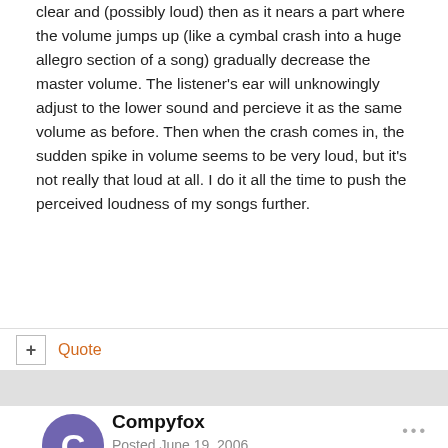clear and (possibly loud) then as it nears a part where the volume jumps up (like a cymbal crash into a huge allegro section of a song) gradually decrease the master volume. The listener's ear will unknowingly adjust to the lower sound and percieve it as the same volume as before. Then when the crash comes in, the sudden spike in volume seems to be very loud, but it's not really that loud at all. I do it all the time to push the perceived loudness of my songs further.
Quote
Compyfox
Posted June 19, 2006
That's not dynamic at all, it's the other way. Then why not clip everything to it's maximum anyway? You won't hear any difference at all and it's the same effect you were just talking about.
Ghettoflame said:
Make the computer volume fairly loud. Make the master volume